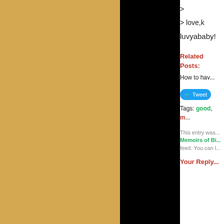>
> love,k
luvyababy!
Related Posts:
How to hav...
[Figure (other): Tweet button (blue rounded button with bird icon and 'Tweet' text)]
Tags: good, m...
This entry was... Memoirs of Bi... feed. You can l...
Your Reply...